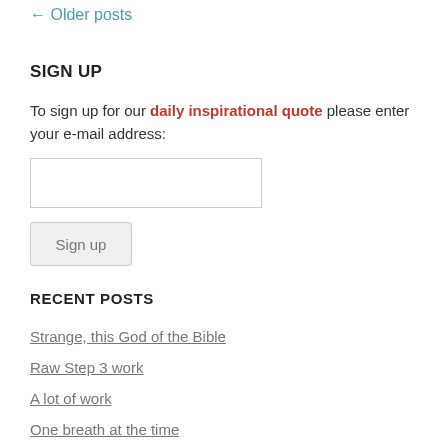← Older posts
SIGN UP
To sign up for our daily inspirational quote please enter your e-mail address:
RECENT POSTS
Strange, this God of the Bible
Raw Step 3 work
A lot of work
One breath at the time
Doing today better than yesterday (or tomorrow better than today)